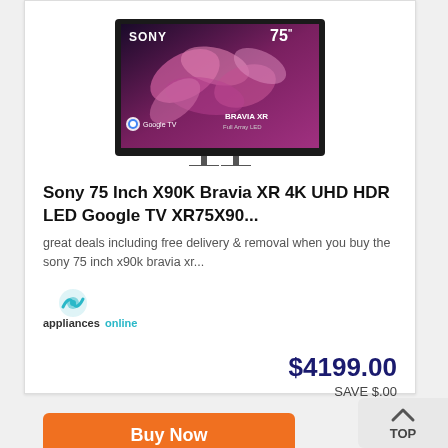[Figure (photo): Sony 75 inch TV product photo showing BRAVIA XR 4K display with colorful floral image on screen, Sony logo top left, 75 inch label top right, Google TV logo bottom left, BRAVIA XR Full Array LED label bottom right]
Sony 75 Inch X90K Bravia XR 4K UHD HDR LED Google TV XR75X90...
great deals including free delivery & removal when you buy the sony 75 inch x90k bravia xr...
[Figure (logo): Appliances Online logo — teal circular wave icon above text 'appliancesonline' in dark and teal colors]
$4199.00
SAVE $.00
Buy Now